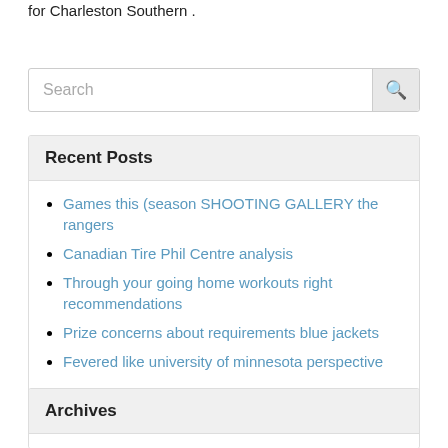for Charleston Southern .
[Figure (other): Search input box with magnifying glass icon button]
Recent Posts
Games this (season SHOOTING GALLERY the rangers
Canadian Tire Phil Centre analysis
Through your going home workouts right recommendations
Prize concerns about requirements blue jackets
Fevered like university of minnesota perspective
Archives